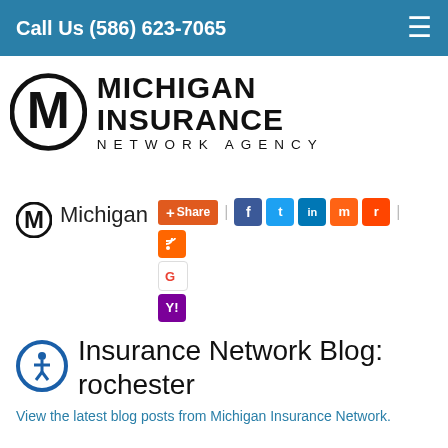Call Us (586) 623-7065
[Figure (logo): Michigan Insurance Network Agency logo with stylized M emblem and bold text]
[Figure (logo): Small Michigan Insurance Network M logo followed by Michigan label and social share buttons (Share, Facebook, Twitter, LinkedIn, Mix, Reddit, RSS, Google, Yahoo)]
Insurance Network Blog: rochester
View the latest blog posts from Michigan Insurance Network.